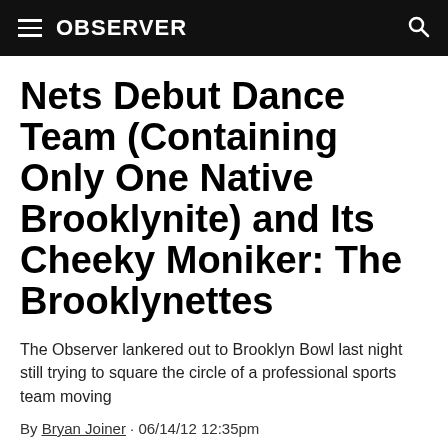OBSERVER
Nets Debut Dance Team (Containing Only One Native Brooklynite) and Its Cheeky Moniker: The Brooklynettes
The Observer lankered out to Brooklyn Bowl last night still trying to square the circle of a professional sports team moving
By Bryan Joiner · 06/14/12 12:35pm